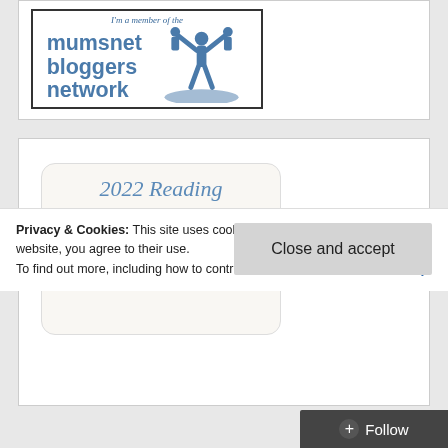[Figure (logo): Mumsnet Bloggers Network logo - script text 'I'm a member of the' above bold blue text 'mumsnet bloggers network' with silhouette of adult lifting children]
[Figure (infographic): 2022 Reading Challenge widget showing italic blue title '2022 Reading Challenge', orange badge with '2022', and text 'Mary has completed her goal of reading 15 books in 2022!']
Privacy & Cookies: This site uses cookies. By continuing to use this website, you agree to their use.
To find out more, including how to control cookies, see here: Cookie Policy
Close and accept
Follow